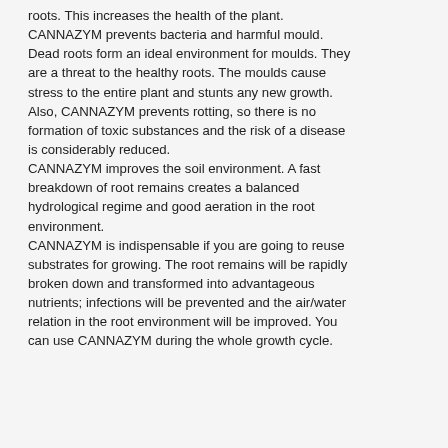roots. This increases the health of the plant. CANNAZYM prevents bacteria and harmful mould. Dead roots form an ideal environment for moulds. They are a threat to the healthy roots. The moulds cause stress to the entire plant and stunts any new growth. Also, CANNAZYM prevents rotting, so there is no formation of toxic substances and the risk of a disease is considerably reduced. CANNAZYM improves the soil environment. A fast breakdown of root remains creates a balanced hydrological regime and good aeration in the root environment. CANNAZYM is indispensable if you are going to reuse substrates for growing. The root remains will be rapidly broken down and transformed into advantageous nutrients; infections will be prevented and the air/water relation in the root environment will be improved. You can use CANNAZYM during the whole growth cycle.